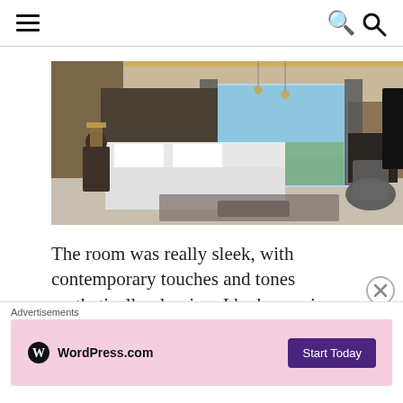navigation header with hamburger menu and search icon
[Figure (photo): Modern hotel room with a large white bed, warm ambient lighting from ceiling cove, floor-to-ceiling window with city/water view, dark furniture including a desk with chair, and wall-mounted TV on the right.]
The room was really sleek, with contemporary touches and tones aesthetically pleasing. I had some issues with the air conditioning but it
Advertisements
[Figure (screenshot): WordPress.com advertisement banner with pink/lavender background showing WordPress.com logo on left and 'Start Today' dark purple button on right.]